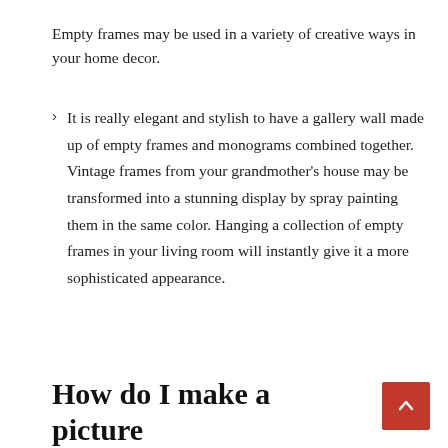Empty frames may be used in a variety of creative ways in your home decor.
It is really elegant and stylish to have a gallery wall made up of empty frames and monograms combined together. Vintage frames from your grandmother's house may be transformed into a stunning display by spray painting them in the same color. Hanging a collection of empty frames in your living room will instantly give it a more sophisticated appearance.
How do I make a picture